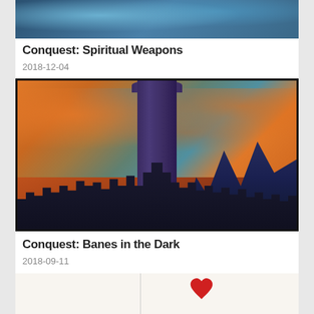[Figure (photo): Top partial image showing blue underwater or abstract scene, cropped at top]
Conquest: Spiritual Weapons
2018-12-04
[Figure (illustration): Fantasy illustration of a dark castle/city silhouette with a tall tower against an orange and teal swirling sky, with dark mountains on the right]
Conquest: Banes in the Dark
2018-09-11
[Figure (photo): Bottom partial image showing white/light background with a red heart shape, partially visible]